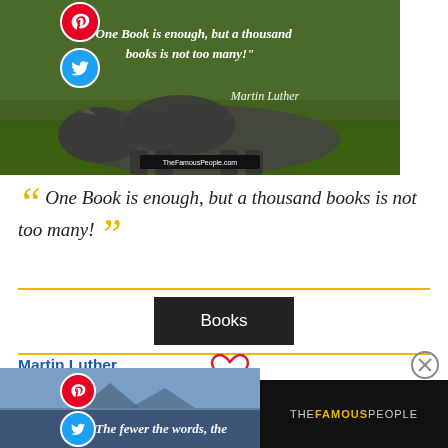[Figure (photo): Rhino on green grass background with white italic quote text overlay and Martin Luther attribution in cursive. TheFamousPeople.com watermark at bottom. Pinterest and Twitter social icons on left side.]
One Book is enough, but a thousand books is not too many!
Books
Martin Luther
[Figure (photo): Second quote image with mountain/castle background, Pinterest and Twitter icons, partial text 'The fewer the words, the']